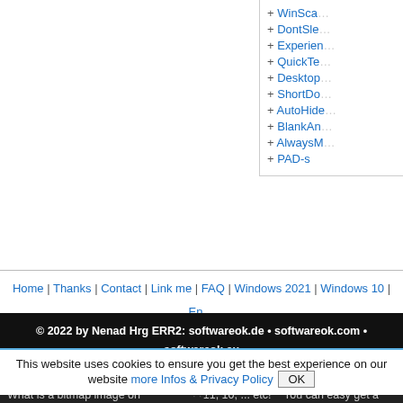+ WinSca...
+ DontSle...
+ Experien...
+ QuickTe...
+ Desktop...
+ ShortDo...
+ AutoHide...
+ BlankAn...
+ AlwaysM...
+ PAD-s
Home | Thanks | Contact | Link me | FAQ | Windows 2021 | Windows 10 | En... Translate | PayPal | PAD-s
© 2022 by Nenad Hrg ERR2: softwareok.de • softwareok.com • softwareok.eu
0.093 "
What is a bitmap image on Windows 11?   The mouse whee... 11, 10, ... etc!   You can easy get a Pixel Color from you Deskt...
This website uses cookies to ensure you get the best experience on our website more Infos & Privacy Policy  OK